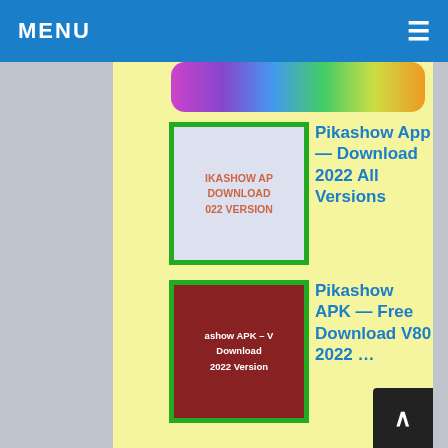MENU ☰
[Figure (illustration): Rainbow gradient bar with colors from purple to green to orange]
[Figure (illustration): Thumbnail: IKASHOW AP DOWNLOAD 022 VERSION on light blue/grey background]
Pikashow App — Download 2022 All Versions
[Figure (illustration): Thumbnail: show APK – V Download 2022 Version on dark red background]
Pikashow APK — Free Download V80 2022 …
[Figure (illustration): Thumbnail: PIKASHOW FOR HONE/IPAD/APPLE DOWNLOAD LATEST VERSION 2 on pink/magenta background]
Download Pikashow for iOS, iPhone, Apple — …
[Figure (illustration): Thumbnail: HOPTV ALTERNATIV on light blue background]
ThopTV Like Apps 2022 Download – Top …